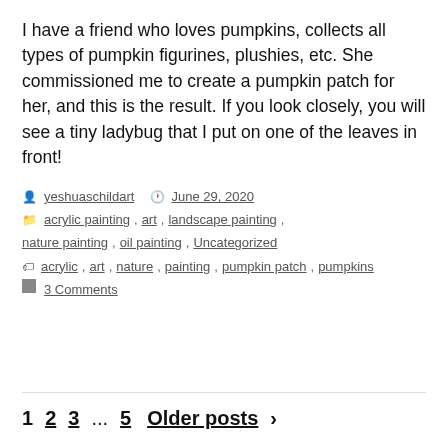I have a friend who loves pumpkins, collects all types of pumpkin figurines, plushies, etc. She commissioned me to create a pumpkin patch for her, and this is the result. If you look closely, you will see a tiny ladybug that I put on one of the leaves in front!
yeshuaschildart  June 29, 2020  acrylic painting, art, landscape painting, nature painting, oil painting, Uncategorized  acrylic, art, nature, painting, pumpkin patch, pumpkins  3 Comments
1  2  3  ...  5  Older posts >